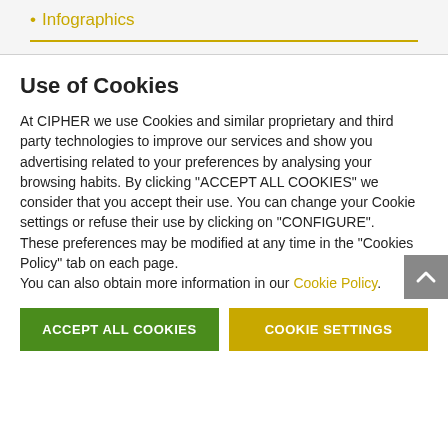Infographics
Use of Cookies
At CIPHER we use Cookies and similar proprietary and third party technologies to improve our services and show you advertising related to your preferences by analysing your browsing habits. By clicking "ACCEPT ALL COOKIES" we consider that you accept their use. You can change your Cookie settings or refuse their use by clicking on "CONFIGURE".
These preferences may be modified at any time in the "Cookies Policy" tab on each page.
You can also obtain more information in our Cookie Policy.